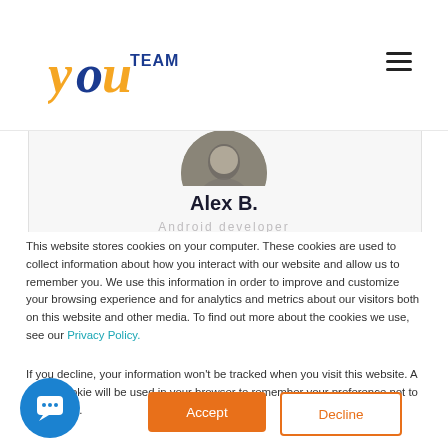[Figure (logo): YouTeam logo with stylized 'You' in blue/yellow and 'TEAM' text]
Alex B.
Android developer
This website stores cookies on your computer. These cookies are used to collect information about how you interact with our website and allow us to remember you. We use this information in order to improve and customize your browsing experience and for analytics and metrics about our visitors both on this website and other media. To find out more about the cookies we use, see our Privacy Policy.
If you decline, your information won't be tracked when you visit this website. A single cookie will be used in your browser to remember your preference not to be tracked.